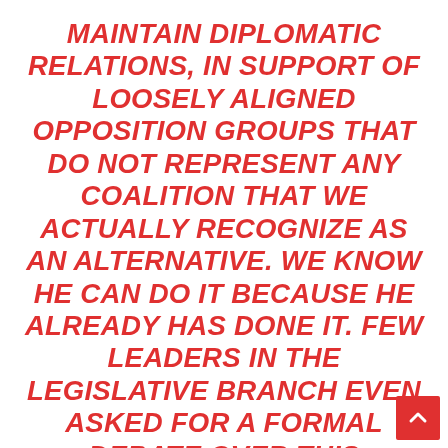MAINTAIN DIPLOMATIC RELATIONS, IN SUPPORT OF LOOSELY ALIGNED OPPOSITION GROUPS THAT DO NOT REPRESENT ANY COALITION THAT WE ACTUALLY RECOGNIZE AS AN ALTERNATIVE. WE KNOW HE CAN DO IT BECAUSE HE ALREADY HAS DONE IT. FEW LEADERS IN THE LEGISLATIVE BRANCH EVEN ASKED FOR A FORMAL DEBATE OVER THIS EXERCISE OF UNILATERAL PRESIDENTIAL POWER, AND IN THE SENATE ANY LEGISLATION PERTAINING TO THE ISSUE WAS PREVENTED FROM REACHING THE
[Figure (other): Scroll-to-top button: red square with white upward chevron arrow, positioned bottom-right corner]